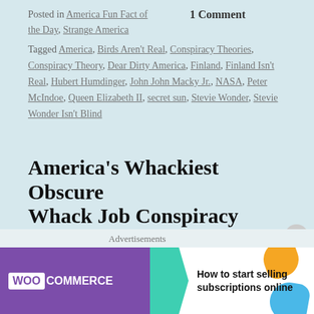Posted in America Fun Fact of the Day, Strange America     1 Comment
Tagged America, Birds Aren't Real, Conspiracy Theories, Conspiracy Theory, Dear Dirty America, Finland, Finland Isn't Real, Hubert Humdinger, John John Macky Jr., NASA, Peter McIndoe, Queen Elizabeth II, secret sun, Stevie Wonder, Stevie Wonder Isn't Blind
America's Whackiest Obscure Whack Job Conspiracy Theories
Posted on January 8, 2015 | 11 comments
"Oh my God, you're crazy, and we love it."
[Figure (screenshot): WooCommerce advertisement banner: How to start selling subscriptions online]